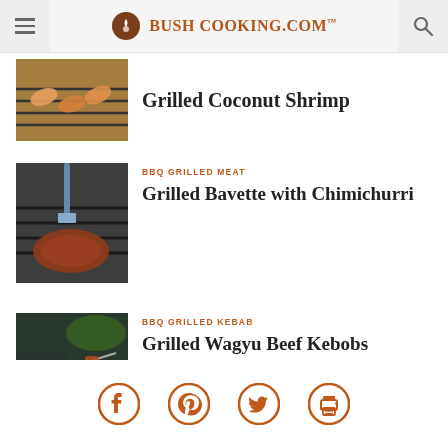Bush Cooking.com
Grilled Coconut Shrimp
BBQ GRILLED MEAT
Grilled Bavette with Chimichurri
BBQ GRILLED KEBAB
Grilled Wagyu Beef Kebobs